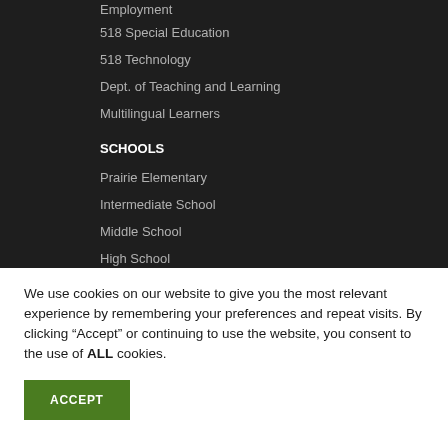Employment
518 Special Education
518 Technology
Dept. of Teaching and Learning
Multilingual Learners
SCHOOLS
Prairie Elementary
Intermediate School
Middle School
High School
We use cookies on our website to give you the most relevant experience by remembering your preferences and repeat visits. By clicking “Accept” or continuing to use the website, you consent to the use of ALL cookies.
ACCEPT